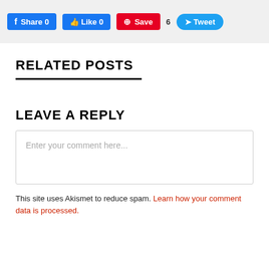[Figure (screenshot): Social share buttons bar: Facebook Share 0, Like 0, Pinterest Save, Tweet with count 6]
RELATED POSTS
LEAVE A REPLY
Enter your comment here...
This site uses Akismet to reduce spam. Learn how your comment data is processed.